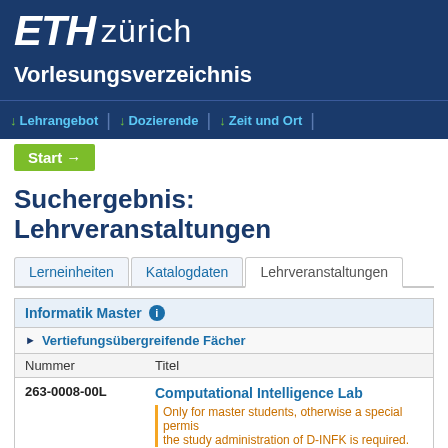[Figure (logo): ETH Zürich logo — white bold italic ETH followed by light-weight zürich text on dark blue background]
Vorlesungsverzeichnis
↓ Lehrangebot  |  ↓ Dozierende  |  ↓ Zeit und Ort
Start →
Suchergebnis: Lehrveranstaltungen
Lerneinheiten  Katalogdaten  Lehrveranstaltungen
| Nummer | Titel |
| --- | --- |
| 263-0008-00L | Computational Intelligence Lab
Only for master students, otherwise a special permission of the study administration of D-INFK is required. |